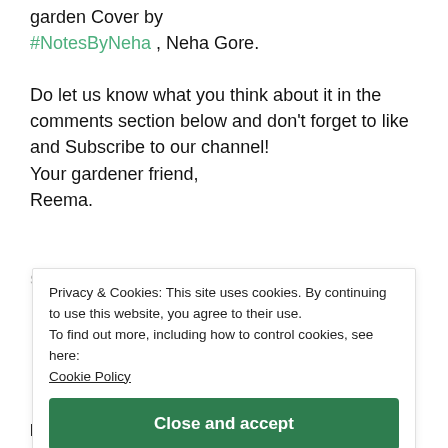garden Cover by #NotesByNeha , Neha Gore.

Do let us know what you think about it in the comments section below and don't forget to like and Subscribe to our channel!
Your gardener friend,
Reema.
Share this:
Privacy & Cookies: This site uses cookies. By continuing to use this website, you agree to their use.
To find out more, including how to control cookies, see here:
Cookie Policy
Close and accept
Related